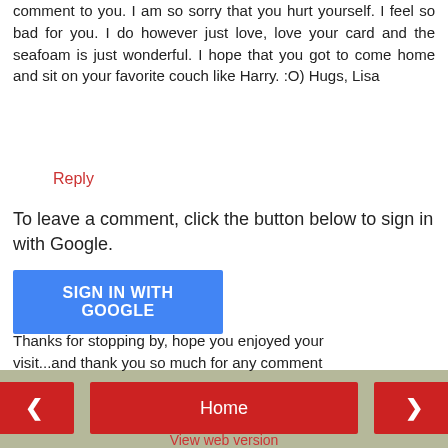comment to you. I am so sorry that you hurt yourself. I feel so bad for you. I do however just love, love your card and the seafoam is just wonderful. I hope that you got to come home and sit on your favorite couch like Harry. :O) Hugs, Lisa
Reply
To leave a comment, click the button below to sign in with Google.
SIGN IN WITH GOOGLE
Thanks for stopping by, hope you enjoyed your visit...and thank you so much for any comment you may leave..
Luv CHRISSYxx
< Home >
View web version